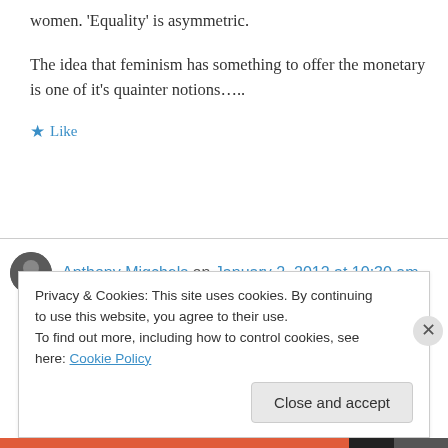women. 'Equality' is asymmetric.
The idea that feminism has something to offer the monetary is one of it's quainter notions…..
★ Like
Anthony Migchels on January 2, 2012 at 10:30 am
I'm sorry, sloppy reading, you did not suggest anything related to my last sentence.
Privacy & Cookies: This site uses cookies. By continuing to use this website, you agree to their use.
To find out more, including how to control cookies, see here: Cookie Policy
Close and accept